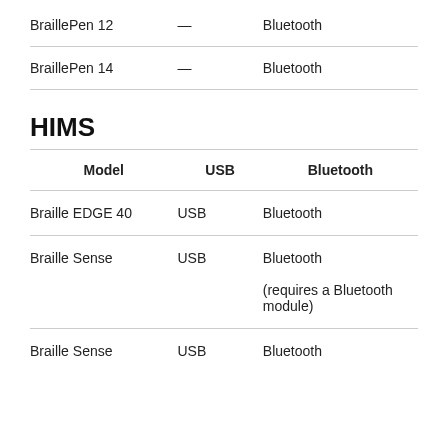|  |  |  |
| --- | --- | --- |
| BraillePen 12 | — | Bluetooth |
| BraillePen 14 | — | Bluetooth |
HIMS
| Model | USB | Bluetooth |
| --- | --- | --- |
| Braille EDGE 40 | USB | Bluetooth |
| Braille Sense | USB | Bluetooth
(requires a Bluetooth module) |
| Braille Sense | USB | Bluetooth |